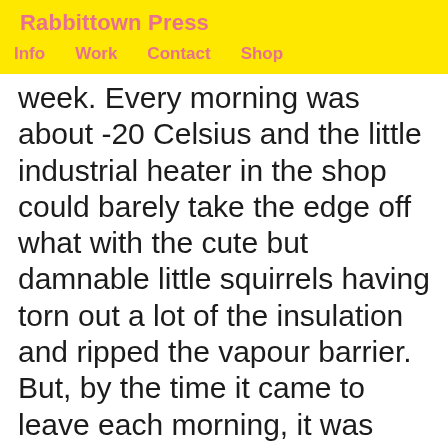Rabbittown Press
Info   Work   Contact   Shop
week. Every morning was about -20 Celsius and the little industrial heater in the shop could barely take the edge off what with the cute but damnable little squirrels having torn out a lot of the insulation and ripped the vapour barrier. But, by the time it came to leave each morning, it was getting workable. The afternoons were a little better.

The long and short of it is that